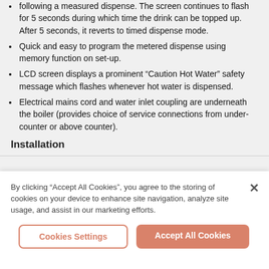following a measured dispense. The screen continues to flash for 5 seconds during which time the drink can be topped up. After 5 seconds, it reverts to timed dispense mode.
Quick and easy to program the metered dispense using memory function on set-up.
LCD screen displays a prominent “Caution Hot Water” safety message which flashes whenever hot water is dispensed.
Electrical mains cord and water inlet coupling are underneath the boiler (provides choice of service connections from under-counter or above counter).
Installation
By clicking “Accept All Cookies”, you agree to the storing of cookies on your device to enhance site navigation, analyze site usage, and assist in our marketing efforts.